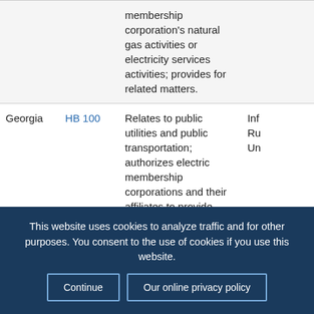| State | Bill | Description | ... |
| --- | --- | --- | --- |
|  |  | membership corporation's natural gas activities or electricity services activities; provides for related matters. |  |
| Georgia | HB 100 | Relates to public utilities and public transportation; authorizes electric membership corporations and their affiliates to provide broadband services; provides for definitions; | Inf... Ru... Un... |
This website uses cookies to analyze traffic and for other purposes. You consent to the use of cookies if you use this website.